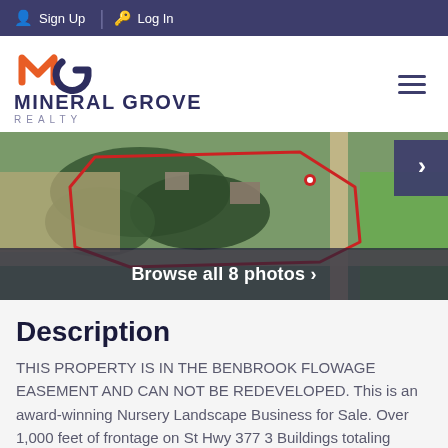Sign Up  Log In
[Figure (logo): Mineral Grove Realty logo with orange and dark blue M-G symbol above bold text MINERAL GROVE REALTY]
[Figure (photo): Aerial satellite view of a property with red boundary outline, trees, buildings, and a highway. A 'Browse all 8 photos >' overlay is shown at the bottom.]
Description
THIS PROPERTY IS IN THE BENBROOK FLOWAGE EASEMENT AND CAN NOT BE REDEVELOPED. This is an award-winning Nursery Landscape Business for Sale. Over 1,000 feet of frontage on St Hwy 377 3 Buildings totaling 5,301 SF Located at the busy